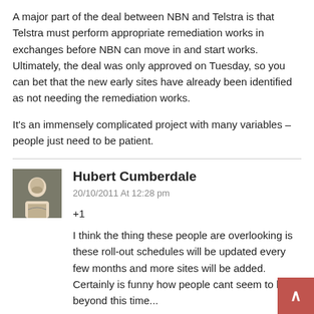A major part of the deal between NBN and Telstra is that Telstra must perform appropriate remediation works in exchanges before NBN can move in and start works. Ultimately, the deal was only approved on Tuesday, so you can bet that the new early sites have already been identified as not needing the remediation works.

It's an immensely complicated project with many variables – people just need to be patient.
Hubert Cumberdale
20/10/2011 At 12:28 pm
+1
I think the thing these people are overlooking is these roll-out schedules will be updated every few months and more sites will be added. Certainly is funny how people cant seem to look beyond this time...